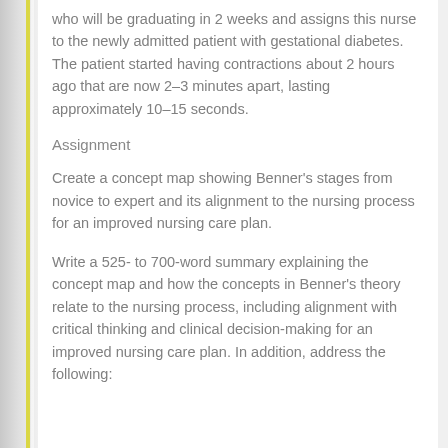who will be graduating in 2 weeks and assigns this nurse to the newly admitted patient with gestational diabetes. The patient started having contractions about 2 hours ago that are now 2–3 minutes apart, lasting approximately 10–15 seconds.
Assignment
Create a concept map showing Benner's stages from novice to expert and its alignment to the nursing process for an improved nursing care plan.
Write a 525- to 700-word summary explaining the concept map and how the concepts in Benner's theory relate to the nursing process, including alignment with critical thinking and clinical decision-making for an improved nursing care plan. In addition, address the following: